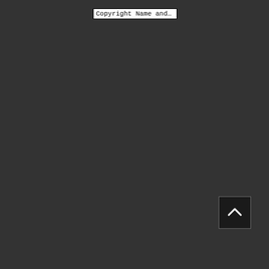Copyright Name and Y...
[Figure (other): A dark square button with a white upward-pointing chevron/caret arrow icon, positioned in the lower right area of the page.]